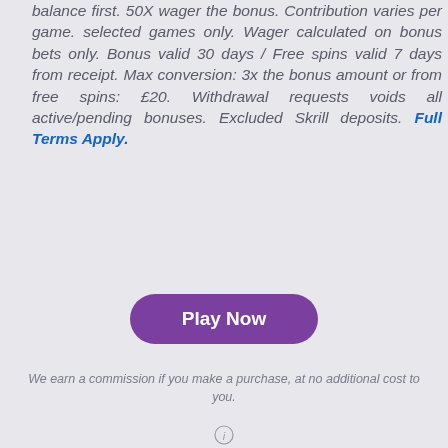balance first. 50X wager the bonus. Contribution varies per game. selected games only. Wager calculated on bonus bets only. Bonus valid 30 days / Free spins valid 7 days from receipt. Max conversion: 3x the bonus amount or from free spins: £20. Withdrawal requests voids all active/pending bonuses. Excluded Skrill deposits. Full Terms Apply.
[Figure (other): Purple rounded button labeled 'Play Now']
We earn a commission if you make a purchase, at no additional cost to you.